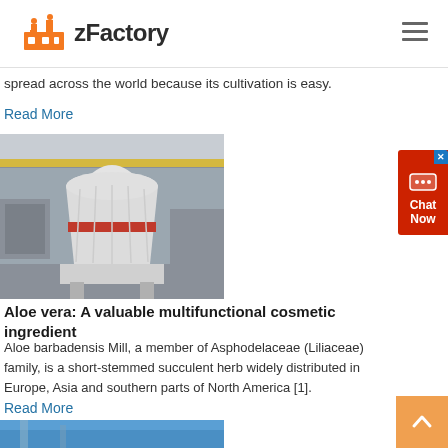zFactory
spread across the world because its cultivation is easy.
Read More
[Figure (photo): Industrial grinding mill machine — large white cylindrical vertical mill with red stripe accent, in a factory setting with yellow overhead crane.]
Aloe vera: A valuable multifunctional cosmetic ingredient
Aloe barbadensis Mill, a member of Asphodelaceae (Liliaceae) family, is a short-stemmed succulent herb widely distributed in Europe, Asia and southern parts of North America [1].
Read More
[Figure (photo): Outdoor industrial or architectural scene with blue sky visible at the bottom of the page.]